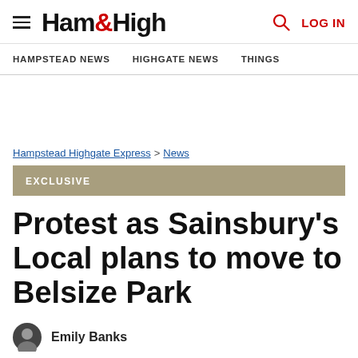Ham&High — HAMPSTEAD NEWS | HIGHGATE NEWS | THINGS — LOG IN
Hampstead Highgate Express > News
EXCLUSIVE
Protest as Sainsbury's Local plans to move to Belsize Park
Emily Banks